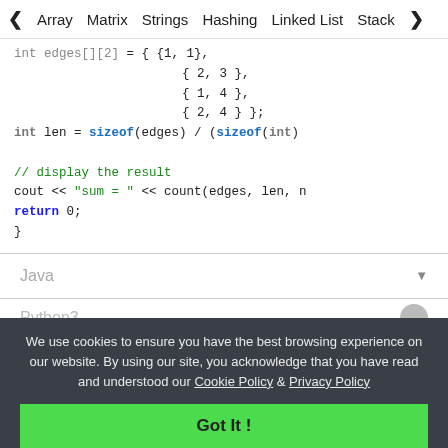< Array   Matrix   Strings   Hashing   Linked List   Stack >
[Figure (screenshot): C++ code block showing array initialization with edges, len calculation using sizeof, a comment '// display the result', cout statement, and return 0 inside closing brace]
Java ▼
Python3
We use cookies to ensure you have the best browsing experience on our website. By using our site, you acknowledge that you have read and understood our Cookie Policy & Privacy Policy
Got It !